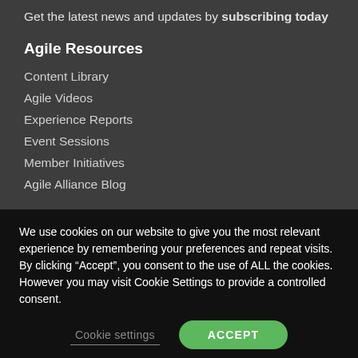Get the latest news and updates by subscribing today
Agile Resources
Content Library
Agile Videos
Experience Reports
Event Sessions
Member Initiatives
Agile Alliance Blog
We use cookies on our website to give you the most relevant experience by remembering your preferences and repeat visits. By clicking “Accept”, you consent to the use of ALL the cookies. However you may visit Cookie Settings to provide a controlled consent.
Cookie settings | ACCEPT